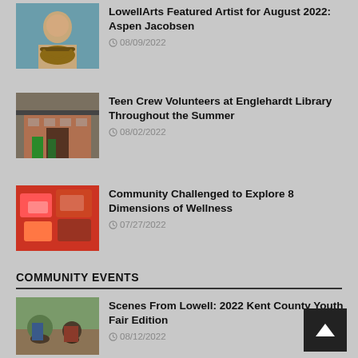[Figure (photo): Person playing guitar, thumbnail image for article]
LowellArts Featured Artist for August 2022: Aspen Jacobsen
08/09/2022
[Figure (photo): Englehardt Public Library exterior with people in front]
Teen Crew Volunteers at Englehardt Library Throughout the Summer
08/02/2022
[Figure (photo): Various items/supplies for wellness challenge]
Community Challenged to Explore 8 Dimensions of Wellness
07/27/2022
COMMUNITY EVENTS
[Figure (photo): People outdoors at Kent County Youth Fair]
Scenes From Lowell: 2022 Kent County Youth Fair Edition
08/12/2022